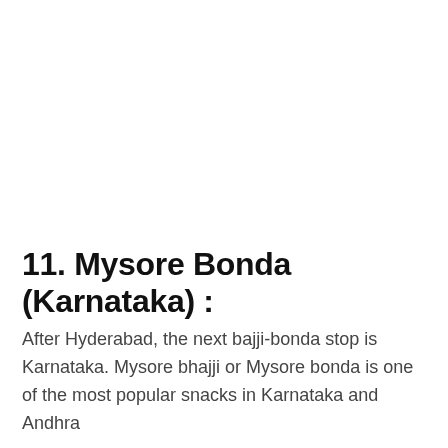11. Mysore Bonda (Karnataka) :
After Hyderabad, the next bajji-bonda stop is Karnataka. Mysore bhajji or Mysore bonda is one of the most popular snacks in Karnataka and Andhra